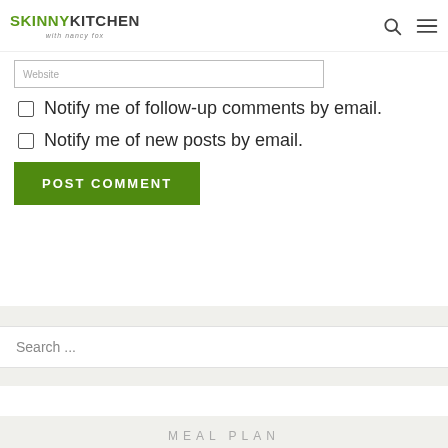SKINNY KITCHEN with nancy fox
Website (input field)
Notify me of follow-up comments by email.
Notify me of new posts by email.
POST COMMENT
Search ...
MEAL PLAN